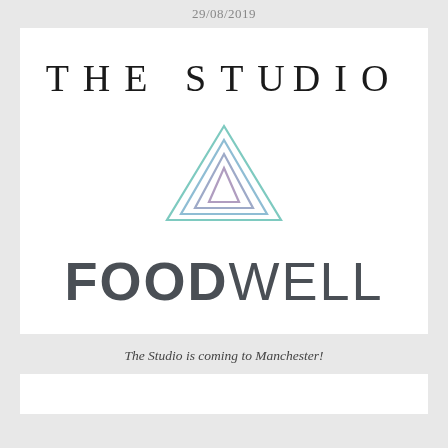29/08/2019
[Figure (logo): The Studio Foodwell logo: text 'THE STUDIO' in spaced serif capitals, a triangle logo made of three nested triangles in teal/purple gradient, and 'FOODWELL' in bold sans-serif with 'FOOD' in dark bold and 'WELL' in lighter weight]
The Studio is coming to Manchester!